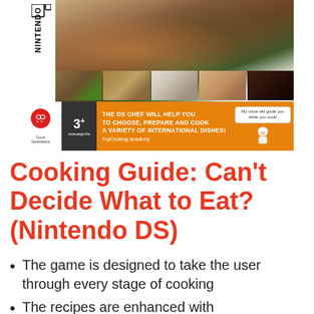[Figure (photo): Nintendo DS game box cover for 'Cooking Guide: Can't Decide What to Eat?' showing food photography (grilled skewers, various dishes), Nintendo DS branding, age rating 3+, Touch Generations logo, and orange bottom bar with text: 'THE DS CHEF WILL HELP YOU TO CHOOSE, PREPARE AND COOK A VARIETY OF INTERNATIONAL DISHES!' and 'My voice will guide you while you cook!' speech bubble with chef illustration. FujiCooking Academy subtitle.]
Cooking Guide: Can't Decide What to Eat? (Nintendo DS)
The game is designed to take the user through every stage of cooking
The recipes are enhanced with